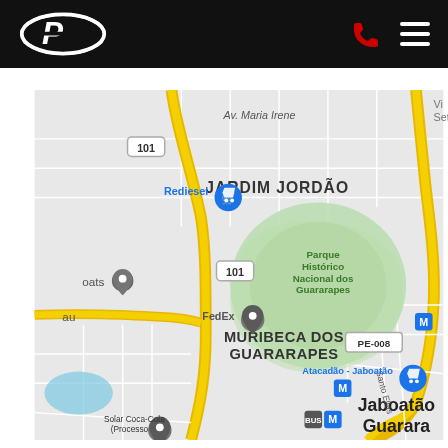Navigation header with Petrobras/P logo, phone icon, and menu icon
[Figure (map): Google Maps screenshot showing Jardim Jordão and Muribeca dos Guararapes neighborhoods in Jaboatão dos Guararapes, Brazil. Features highway 101 (yellow), FedEx location marker, Rediesel shopping marker, Parque Histórico Nacional dos Guararapes (green area), PE-008 road, Metro stations (M), Atacadão-Jaboatão marker, Solar Coca-Cola (Processso) marker, and Jaboatão Guararapes label.]